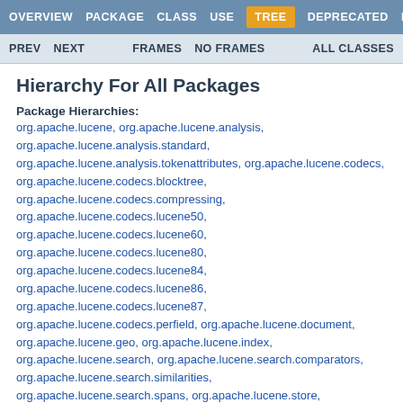OVERVIEW  PACKAGE  CLASS  USE  TREE  DEPRECATED  HELP
PREV  NEXT  FRAMES  NO FRAMES  ALL CLASSES
Hierarchy For All Packages
Package Hierarchies:
org.apache.lucene, org.apache.lucene.analysis, org.apache.lucene.analysis.standard, org.apache.lucene.analysis.tokenattributes, org.apache.lucene.codecs, org.apache.lucene.codecs.blocktree, org.apache.lucene.codecs.compressing, org.apache.lucene.codecs.lucene50, org.apache.lucene.codecs.lucene60, org.apache.lucene.codecs.lucene80, org.apache.lucene.codecs.lucene84, org.apache.lucene.codecs.lucene86, org.apache.lucene.codecs.lucene87, org.apache.lucene.codecs.perfield, org.apache.lucene.document, org.apache.lucene.geo, org.apache.lucene.index, org.apache.lucene.search, org.apache.lucene.search.comparators, org.apache.lucene.search.similarities, org.apache.lucene.search.spans, org.apache.lucene.store, org.apache.lucene.util, org.apache.lucene.util.automaton, org.apache.lucene.util.bkd, org.apache.lucene.util.compress, org.apache.lucene.util.fst, org.apache.lucene.util.graph, org.apache.lucene.util.hppc, org.apache.lucene.util.mutable